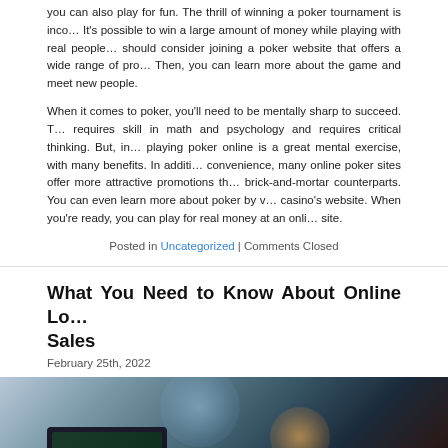you can also play for fun. The thrill of winning a poker tournament is inco... It's possible to win a large amount of money while playing with real people... should consider joining a poker website that offers a wide range of pro... Then, you can learn more about the game and meet new people.
When it comes to poker, you'll need to be mentally sharp to succeed. T... requires skill in math and psychology and requires critical thinking. But, in... playing poker online is a great mental exercise, with many benefits. In additi... convenience, many online poker sites offer more attractive promotions th... brick-and-mortar counterparts. You can even learn more about poker by v... casino's website. When you're ready, you can play for real money at an onli... site.
Posted in Uncategorized | Comments Closed
What You Need to Know About Online Lo... Sales
February 25th, 2022
[Figure (photo): A blurred bokeh photograph showing a laptop with a dark screen in the foreground, with orange and light bokeh circles in the background against a dark backdrop.]